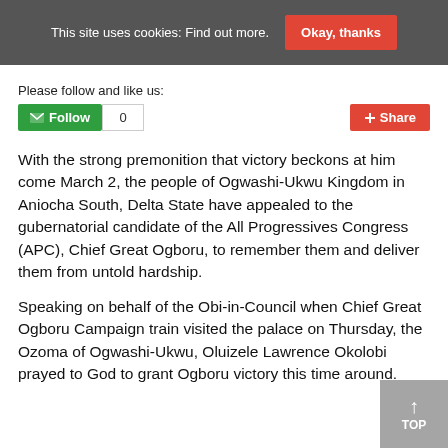This site uses cookies: Find out more.  Okay, thanks
Please follow and like us:
Follow  0   Share
With the strong premonition that victory beckons at him come March 2, the people of Ogwashi-Ukwu Kingdom in Aniocha South, Delta State have appealed to the gubernatorial candidate of the All Progressives Congress (APC), Chief Great Ogboru, to remember them and deliver them from untold hardship.
Speaking on behalf of the Obi-in-Council when Chief Great Ogboru Campaign train visited the palace on Thursday, the Ozoma of Ogwashi-Ukwu, Oluizele Lawrence Okolobi prayed to God to grant Ogboru victory this time around.